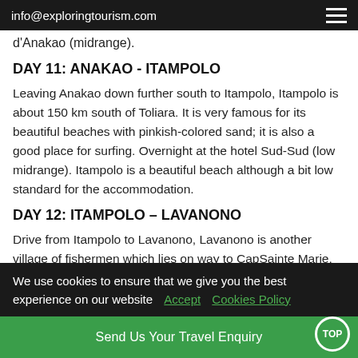info@exploringtourism.com
d'Anakao (midrange).
DAY 11: ANAKAO - ITAMPOLO
Leaving Anakao down further south to Itampolo, Itampolo is about 150 km south of Toliara. It is very famous for its beautiful beaches with pinkish-colored sand; it is also a good place for surfing. Overnight at the hotel Sud-Sud (low midrange). Itampolo is a beautiful beach although a bit low standard for the accommodation.
DAY 12: ITAMPOLO – LAVANONO
Drive from Itampolo to Lavanono, Lavanono is another village of fishermen which lies on way to CapSainte Marie, Lavanono is
We use cookies to ensure that we give you the best experience on our website  Accept  Cookies Policy
Send Us Your Travel Enquiry